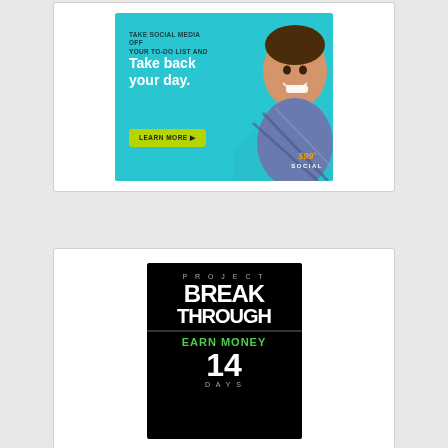[Figure (advertisement): 99Social advertisement: cyan/teal background with smiling man, text 'TAKE SOCIAL MEDIA OFF YOUR TO-DO LIST AND Take back your day.' with green LEARN MORE button and $99+ SOCIAL logo]
[Figure (advertisement): Project Breakthrough advertisement: black background with white bold text 'PROJECT BREAKTHROUGH EARN MONEY' in green, partial days counter visible]